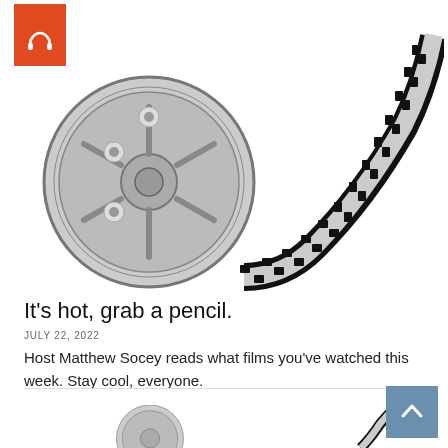[Figure (illustration): Orange square badge with white headphone icon in top-left corner]
[Figure (illustration): Film reel with film strip unspooling and curving to the right, black and white/gray illustration on white background]
It's hot, grab a pencil.
JULY 22, 2022
Host Matthew Socey reads what films you've watched this week. Stay cool, everyone.
[Figure (illustration): Second orange square badge with white headphone icon]
[Figure (illustration): Partial film reel illustration (left) from a second article block, cropped at bottom of page]
[Figure (illustration): Partial film strip illustration (right) from a second article block, cropped at bottom of page]
[Figure (illustration): Blue-gray scroll-to-top button with upward chevron arrow in bottom-right corner]